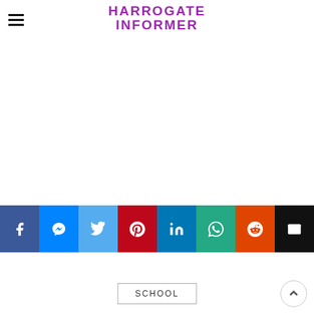HARROGATE INFORMER
[Figure (infographic): Social sharing bar with 8 buttons: Facebook, Messenger, Twitter, Pinterest, LinkedIn, WhatsApp, Reddit, Email]
SCHOOL